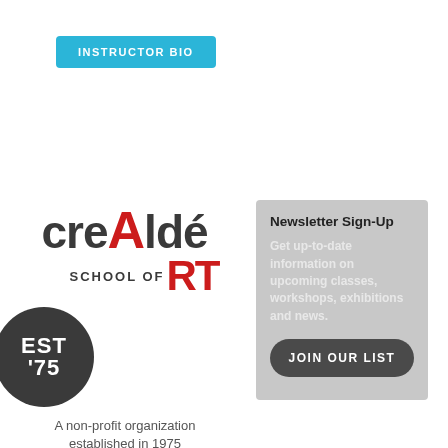INSTRUCTOR BIO
[Figure (logo): Crealdé School of Art logo with 'EST '75' circle badge]
A non-profit organization established in 1975
Newsletter Sign-Up
Get up-to-date information on upcoming classes, workshops, exhibitions and news.
JOIN OUR LIST